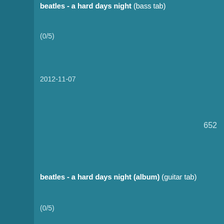beatles - a hard days night (bass tab)
(0/5)
2012-11-07
652
beatles - a hard days night (album) (guitar tab)
(0/5)
2012-11-07
1224
beatles - a hard days night (ver 10) (chords)
(0/5)
2012-11-07
926